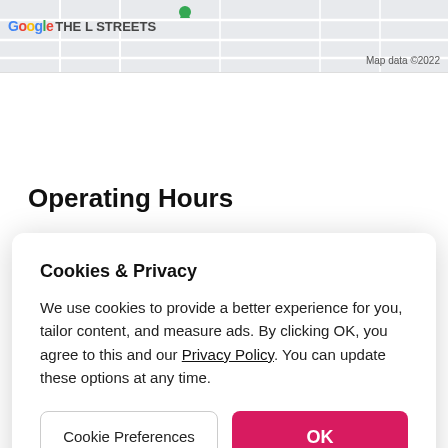[Figure (map): Google Map snippet showing 'THE L STREETS' label and street grid. Google logo bottom-left, 'Map data ©2022' credit bottom-right.]
Operating Hours
Cookies & Privacy

We use cookies to provide a better experience for you, tailor content, and measure ads. By clicking OK, you agree to this and our Privacy Policy. You can update these options at any time.
Cookie Preferences
OK